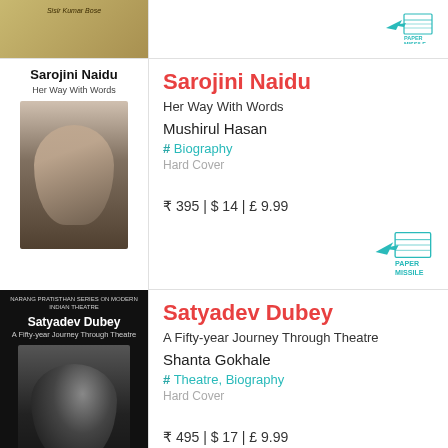[Figure (screenshot): Partial book listing for a previous book (Sisir Kumar Bose) with Paper Missile logo visible top right]
[Figure (photo): Book cover of Sarojini Naidu: Her Way With Words]
Sarojini Naidu
Her Way With Words
Mushirul Hasan
# Biography
Hard Cover
₹ 395 | $ 14 | £ 9.99
[Figure (logo): Paper Missile logo]
[Figure (photo): Book cover of Satyadev Dubey: A Fifty-year Journey Through Theatre]
Satyadev Dubey
A Fifty-year Journey Through Theatre
Shanta Gokhale
# Theatre, Biography
Hard Cover
₹ 495 | $ 17 | £ 9.99
[Figure (logo): Paper Missile logo]
Security, Governance, and...
[Figure (photo): Partial book cover with orange/red background showing SECURITY text]